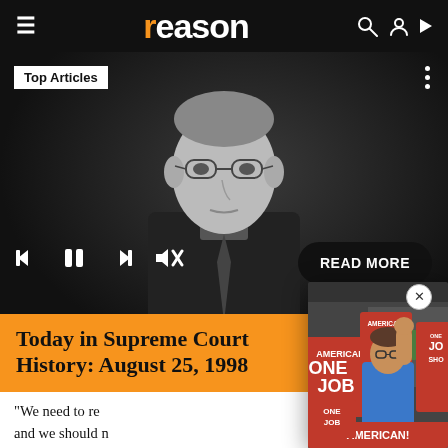reason (logo with orange r)
[Figure (photo): Screenshot of Reason magazine website showing a black-and-white photo of a Supreme Court justice in robes with media player controls, article title overlay in orange 'Today in Supreme Court History: August 25, 1998', and a popup photo overlay showing protesters with 'ONE JOB' signs and a woman in blue jacket raising her fist]
Today in Supreme Court History: August 25, 1998
"We need to re... and we should n... where a young ... excessive mand... to commend Se... Durbin, for their leadership on this. It's not easy to bring